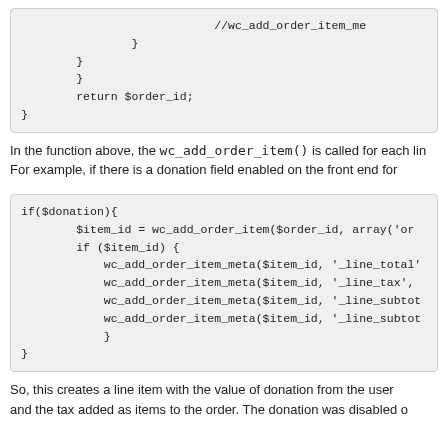[Figure (screenshot): Code block showing closing braces and return $order_id statement]
In the function above, the wc_add_order_item() is called for each lin For example, if there is a donation field enabled on the front end for
[Figure (screenshot): Code block showing if($donation) block with wc_add_order_item and wc_add_order_item_meta calls]
So, this creates a line item with the value of donation from the user and the tax added as items to the order. The donation was disabled o